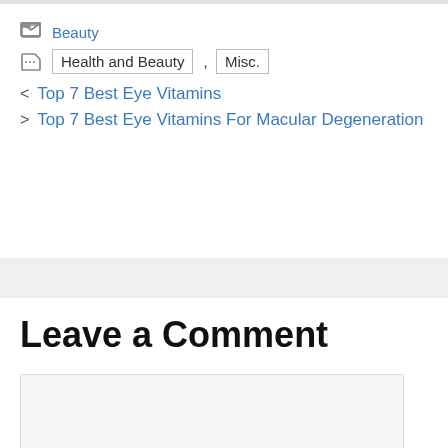Beauty
Health and Beauty , Misc.
< Top 7 Best Eye Vitamins
> Top 7 Best Eye Vitamins For Macular Degeneration
Leave a Comment